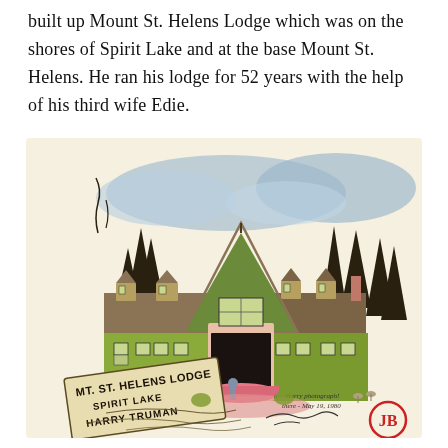built up Mount St. Helens Lodge which was on the shores of Spirit Lake and at the base Mount St. Helens. He ran his lodge for 52 years with the help of his third wife Edie.
[Figure (illustration): A hand-drawn and watercolor illustration of Mount St. Helens Lodge, showing a large green chalet-style building with an A-frame center section, surrounded by tall evergreen trees and a blue-grey sky. In the foreground lower-left is a sign reading 'MT. ST. HELENS LODGE / SPIRIT LAKE / HARRY TRUMAN'. To the lower right is a handwritten note 'Harry photograph here - May 19, 1980' and a cursive signature, along with a red circular logo with 'JB' initials.]